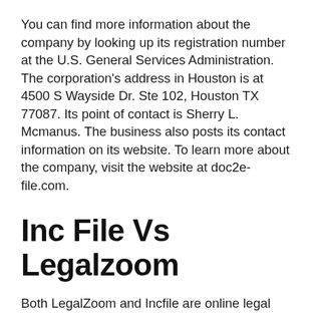You can find more information about the company by looking up its registration number at the U.S. General Services Administration. The corporation's address in Houston is at 4500 S Wayside Dr. Ste 102, Houston TX 77087. Its point of contact is Sherry L. Mcmanus. The business also posts its contact information on its website. To learn more about the company, visit the website at doc2e-file.com.
Inc File Vs Legalzoom
Both LegalZoom and Incfile are online legal services with a similar service offering. Although both companies offer similar levels of service, some consumers prefer one over